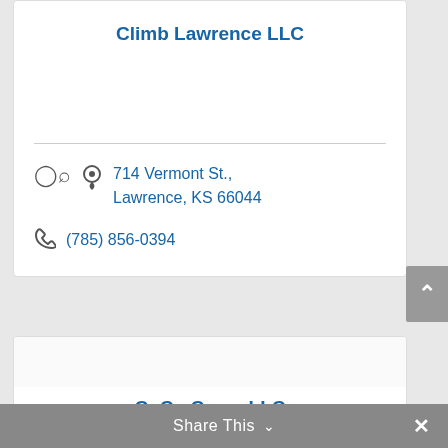Climb Lawrence LLC
714 Vermont St., Lawrence, KS 66044
(785) 856-0394
CoCo Cares LLC
Share This